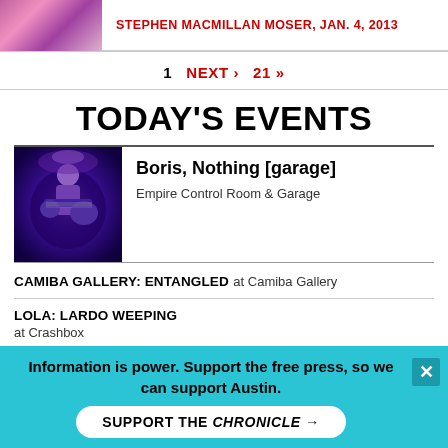STEPHEN MACMILLAN MOSER, JAN. 4, 2013
1  NEXT >  21 >>
TODAY'S EVENTS
[Figure (photo): Musician on stage playing guitar in purple/blue stage lighting]
Boris, Nothing [garage]
Empire Control Room & Garage
CAMIBA GALLERY: ENTANGLED  at Camiba Gallery
LOLA: LARDO WEEPING
at Crashbox
MUSIC  |  MOVIES  |  ARTS  |  COMMUNITY
Information is power. Support the free press, so we can support Austin.
SUPPORT THE CHRONICLE →